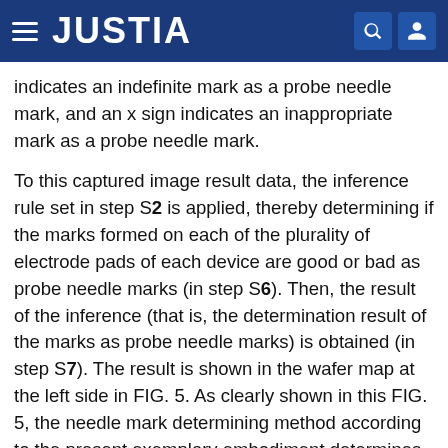JUSTIA
indicates an indefinite mark as a probe needle mark, and an x sign indicates an inappropriate mark as a probe needle mark.
To this captured image result data, the inference rule set in step S2 is applied, thereby determining if the marks formed on each of the plurality of electrode pads of each device are good or bad as probe needle marks (in step S6). Then, the result of the inference (that is, the determination result of the marks as probe needle marks) is obtained (in step S7). The result is shown in the wafer map at the left side in FIG. 5. As clearly shown in this FIG. 5, the needle mark determining method according to the present exemplary embodiment determines if indefinite marks are good or bad as probe needle marks, and thus the result does not include the indefinite marks as the probe needle marks. Moreover,